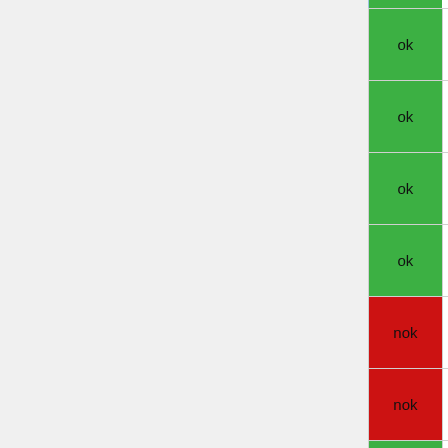| status | name | type | num |
| --- | --- | --- | --- |
| ok | PNY | SD | 2 |
| ok | PNY | SDHC | 4 |
| ok | PNY | SDHC | 4 |
| ok | PNY | SDHC | 8 |
| nok | PNY | SDHC | 8 |
| nok | PNY | SDHC | 8 |
| ok | PNY | SDHC | 8 |
| nok | PNY | SDHC | 8 |
| ok | PNY |  |  |